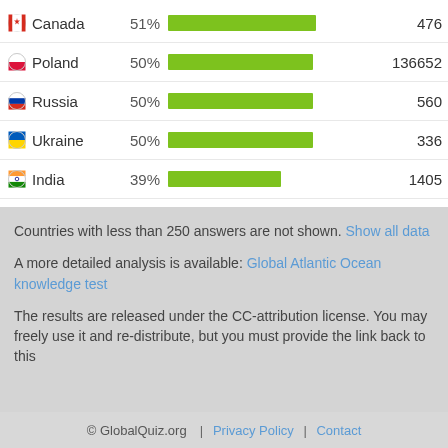[Figure (bar-chart): Country scores]
Countries with less than 250 answers are not shown. Show all data
A more detailed analysis is available: Global Atlantic Ocean knowledge test
The results are released under the CC-attribution license. You may freely use it and re-distribute, but you must provide the link back to this
© GlobalQuiz.org  |  Privacy Policy  |  Contact